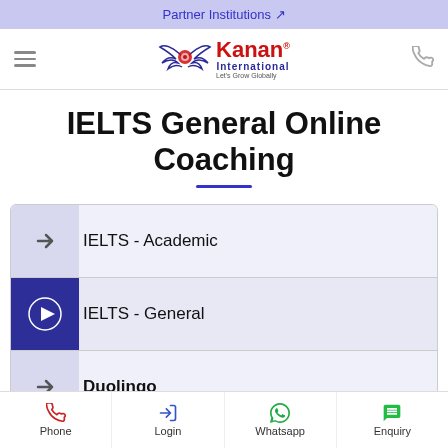Partner Institutions
[Figure (logo): Kanan International logo with wings, tagline Let's Grow Globally]
IELTS General Online Coaching
IELTS - Academic
IELTS - General
Duolingo
Phone  Login  Whatsapp  Enquiry